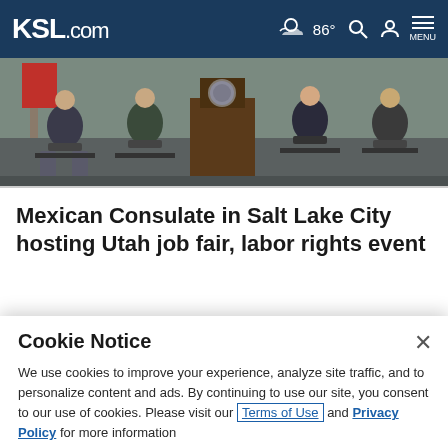KSL.com  86° MENU
[Figure (photo): People sitting in chairs at what appears to be a press conference or meeting, with a podium visible in the background]
Mexican Consulate in Salt Lake City hosting Utah job fair, labor rights event
[Figure (photo): Outdoor scene with rocky desert landscape and helmets visible in the foreground]
Cookie Notice
We use cookies to improve your experience, analyze site traffic, and to personalize content and ads. By continuing to use our site, you consent to our use of cookies. Please visit our Terms of Use and Privacy Policy for more information